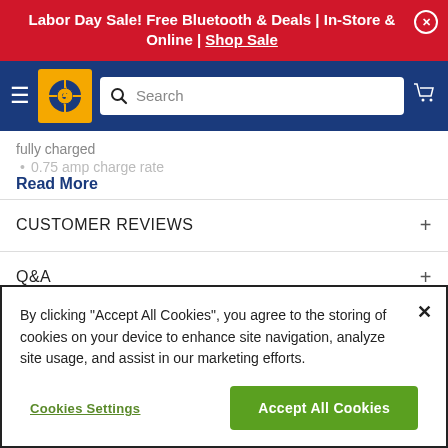Labor Day Sale! Free Bluetooth & Deals | In-Store & Online | Shop Sale
[Figure (screenshot): Navigation bar with hamburger menu, Discount Tire logo (yellow box with wheel icon), search bar, and cart icon on dark blue background]
fully charged
• 0.75 amp charge rate
Read More
CUSTOMER REVIEWS
Q&A
PART NUMBERS
By clicking "Accept All Cookies", you agree to the storing of cookies on your device to enhance site navigation, analyze site usage, and assist in our marketing efforts.
Cookies Settings
Accept All Cookies